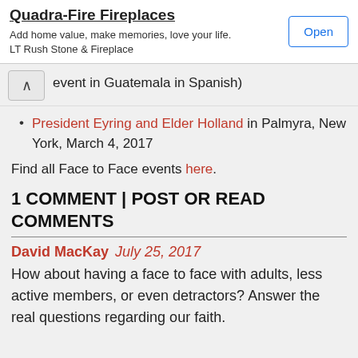[Figure (other): Advertisement banner for Quadra-Fire Fireplaces by LT Rush Stone & Fireplace with an Open button]
event in Guatemala in Spanish)
President Eyring and Elder Holland in Palmyra, New York, March 4, 2017
Find all Face to Face events here.
1 COMMENT | POST OR READ COMMENTS
David MacKay   July 25, 2017
How about having a face to face with adults, less active members, or even detractors? Answer the real questions regarding our faith.